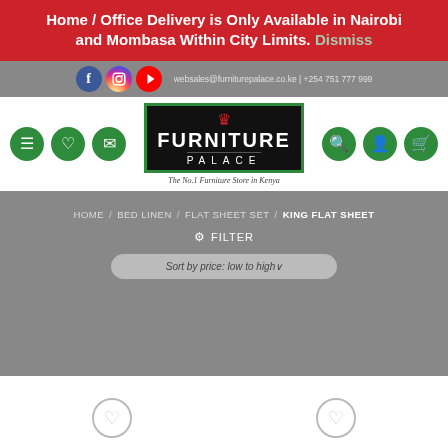Home / Office Delivery is Only Available in Nairobi and Mombasa Within City Limits. Dismiss
websales@furniturepalace.co.ke | +254 751 777 999
[Figure (logo): Furniture Palace logo with crown, black background and green border, tagline: The No.1 Furniture Store in Kenya]
HOME / BED LINEN / FLAT SHEET SET / KING FLAT SHEET
≡ FILTER
Sort by price: low to high